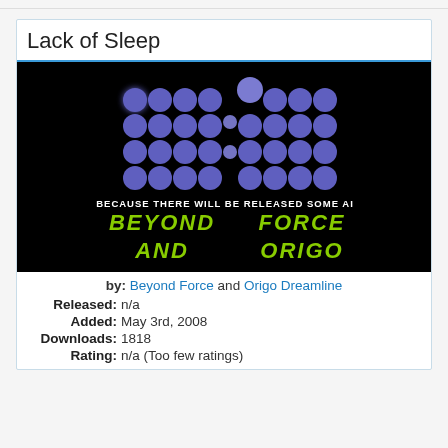Lack of Sleep
[Figure (screenshot): Screenshot of a demoscene intro showing blue glowing orbs arranged in two digit shapes separated by a colon (like a clock display), with text 'BECAUSE THERE WILL BE RELEASED SOME AI' and stylized green-yellow text 'BEYOND FORCE' and 'AND ORIGO' on a black background.]
by: Beyond Force and Origo Dreamline
Released: n/a
Added: May 3rd, 2008
Downloads: 1818
Rating: n/a (Too few ratings)